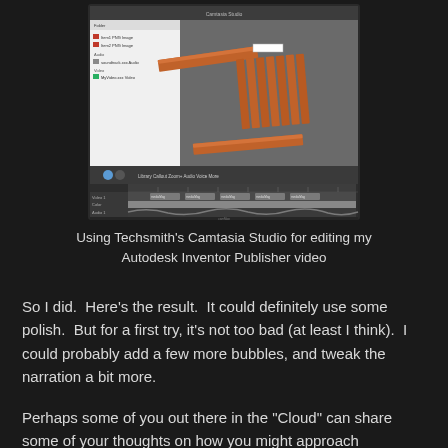[Figure (screenshot): Screenshot of Techsmith's Camtasia Studio video editing software showing a 3D model of orange/brown planks from Autodesk Inventor Publisher in the preview pane, with a media library panel on the left and a timeline with Video 1, Color, and Audio 1 tracks at the bottom.]
Using Techsmith's Camtasia Studio for editing my Autodesk Inventor Publisher video
So I did.  Here's the result.  It could definitely use some polish.  But for a first try, it's not too bad (at least I think).  I could probably add a few more bubbles, and tweak the narration a bit more.
Perhaps some of you out there in the "Cloud" can share some of your thoughts on how you might approach